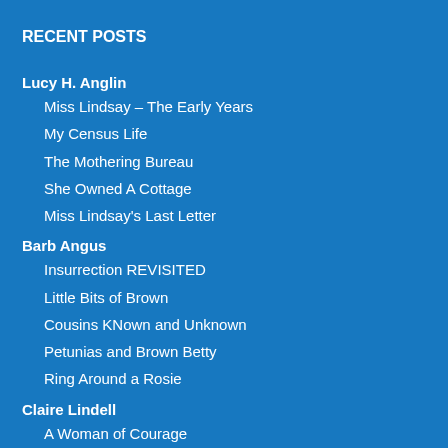RECENT POSTS
Lucy H. Anglin
Miss Lindsay – The Early Years
My Census Life
The Mothering Bureau
She Owned A Cottage
Miss Lindsay's Last Letter
Barb Angus
Insurrection REVISITED
Little Bits of Brown
Cousins KNown and Unknown
Petunias and Brown Betty
Ring Around a Rosie
Claire Lindell
A Woman of Courage
Happy Canada Day